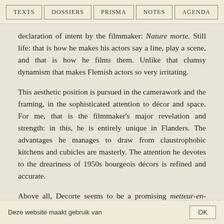TEXTS  DOSSIERS  PRISMA  NOTES  AGENDA
declaration of intent by the filmmaker: Nature morte. Still life: that is how he makes his actors say a line, play a scene, and that is how he films them. Unlike that clumsy dynamism that makes Flemish actors so very irritating.
This aesthetic position is pursued in the camerawork and the framing, in the sophisticated attention to décor and space. For me, that is the filmmaker's major revelation and strength: in this, he is entirely unique in Flanders. The advantages he manages to draw from claustrophobic kitchens and cubicles are masterly. The attention he devotes to the dreariness of 1950s bourgeois décors is refined and accurate.
Above all, Decorte seems to be a promising metteur-en-scène. As a scriptwriter and dialogist, he is less successful. At least to me, the issues he addresses are rather annoying: the petty
Deze website maakt gebruik van  OK